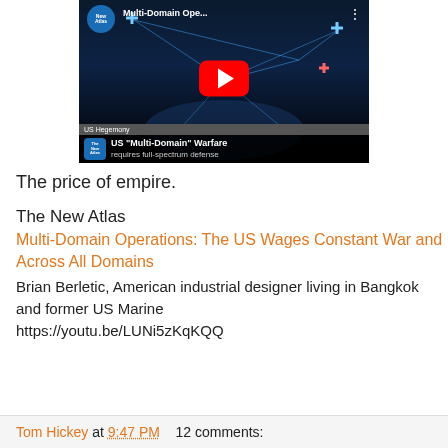[Figure (screenshot): YouTube video thumbnail showing 'US Multi-Domain Warfare requires full-spectrum defense' by The New Atlas channel, with satellite network imagery and red YouTube play button]
The price of empire.
The New Atlas
Multi-Domain Operations: The US Wages Constant War and Across All Domains
Brian Berletic, American industrial designer living in Bangkok and former US Marine
https://youtu.be/LUNi5zKqKQQ
Tom Hickey at 9:47 PM   12 comments: